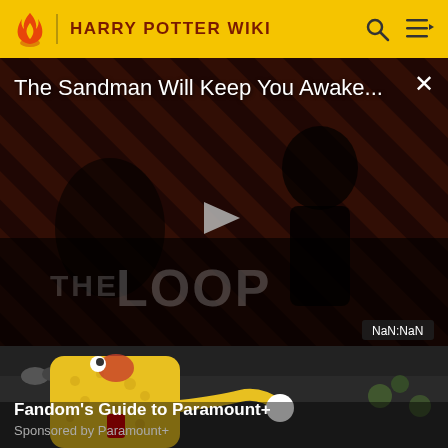HARRY POTTER WIKI
[Figure (screenshot): Video player showing 'The Sandman Will Keep You Awake...' with a dark-clothed figure against diagonal red/black stripes background. A play button triangle is centered. Bottom right shows time display 'NaN:NaN'. THE LOOP watermark visible at bottom.]
[Figure (photo): Fandom's Guide to Paramount+ promotional card showing SpongeBob character against dark background. Text reads 'Fandom's Guide to Paramount+' and 'Sponsored by Paramount+']